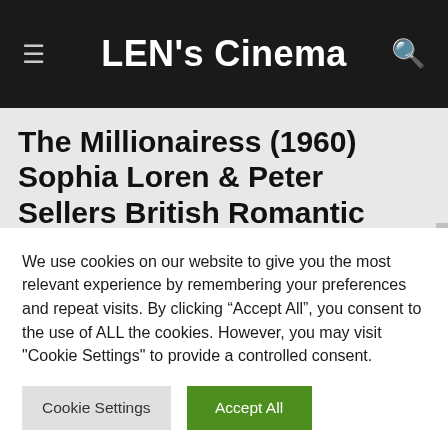LEN's Cinema
The Millionairess (1960) Sophia Loren & Peter Sellers British Romantic Comedy
We use cookies on our website to give you the most relevant experience by remembering your preferences and repeat visits. By clicking “Accept All”, you consent to the use of ALL the cookies. However, you may visit "Cookie Settings" to provide a controlled consent.